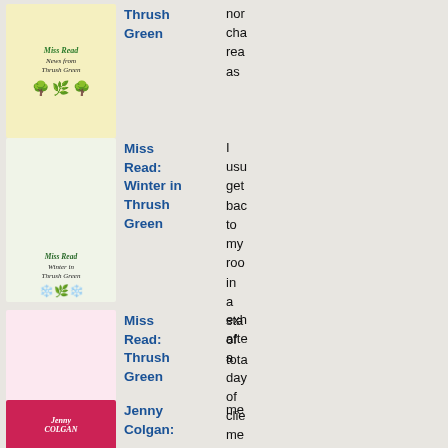[Figure (photo): Book cover: Miss Read - News from Thrush Green, yellow background with illustrated trees and figures]
Thrush Green
nor cha rea as
[Figure (photo): Book cover: Miss Read - Winter in Thrush Green, pale green/white background with winter illustration]
Miss Read: Winter in Thrush Green
I usu get bac to my roo in a sta of tota exh afte a day of cli me
[Figure (photo): Book cover: Miss Read - Thrush Green, pink background with illustrated village scene]
Miss Read: Thrush Green
[Figure (photo): Book cover: Jenny Colgan, pink/red background with illustrated design]
Jenny Colgan: